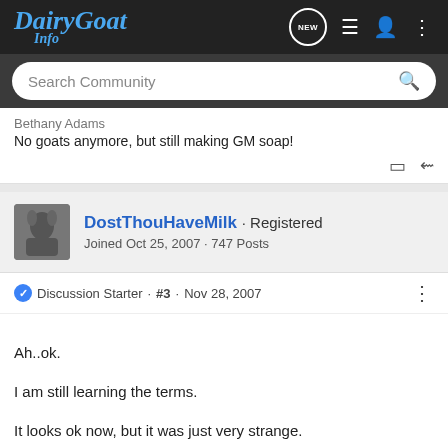[Figure (logo): DairyGoat Info logo in blue italic script font on dark navbar]
Search Community
Bethany Adams
No goats anymore, but still making GM soap!
DostThouHaveMilk · Registered
Joined Oct 25, 2007 · 747 Posts
Discussion Starter · #3 · Nov 28, 2007
Ah..ok.
I am still learning the terms.
It looks ok now, but it was just very strange.
I'll see what it looks like when I cut in a couple of days...
Thanks for the information.. :biggrin